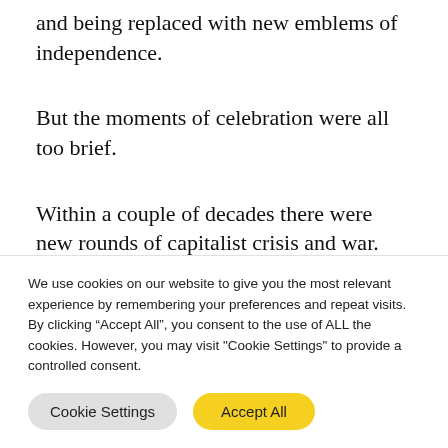and being replaced with new emblems of independence.
But the moments of celebration were all too brief.
Within a couple of decades there were new rounds of capitalist crisis and war. These caused carnage and impoverishment, and new ways for the powerful blocs of East and West
We use cookies on our website to give you the most relevant experience by remembering your preferences and repeat visits. By clicking “Accept All”, you consent to the use of ALL the cookies. However, you may visit "Cookie Settings" to provide a controlled consent.